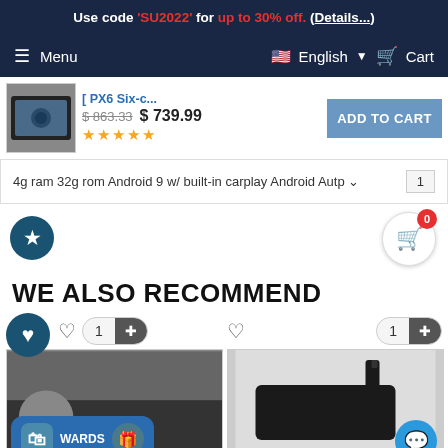Use code 'SU2022' for up to 30% off. (Details...)
Menu  English  Cart
[Figure (screenshot): Sticky product bar with thumbnail image of car stereo, product title [PX6 Six-c..., crossed-out price $863.33, price $739.99, star rating, and ADD TO CART button]
4g ram 32g rom Android 9 w/ built-in carplay Android Autp  1
[Figure (screenshot): Favorite star button (dark blue circle), and cart float button (0 badge, white circle with cart icon)]
WE ALSO RECOMMEND
[Figure (screenshot): Heart/favorites button (dark blue circle), two product cards side by side each with heart outline icon, quantity+add button, product image. Left card shows rewards overlay with shopping bag icon and text WARDS and gift icon button. Right card shows a black USB/HDMI device. Chat bubble button with GetButton label in bottom right.]